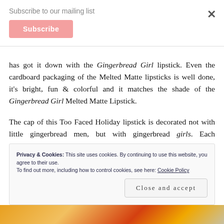Subscribe to our mailing list
has got it down with the Gingerbread Girl lipstick. Even the cardboard packaging of the Melted Matte lipsticks is well done, it's bright, fun & colorful and it matches the shade of the Gingerbread Girl Melted Matte Lipstick.
The cap of this Too Faced Holiday lipstick is decorated not with little gingerbread men, but with gingerbread girls. Each gingerbread girl has a little pink bow in her hair. So cute!
Privacy & Cookies: This site uses cookies. By continuing to use this website, you agree to their use.
To find out more, including how to control cookies, see here: Cookie Policy
Close and accept
[Figure (photo): Bottom image strip showing colorful food items in orange and red tones]